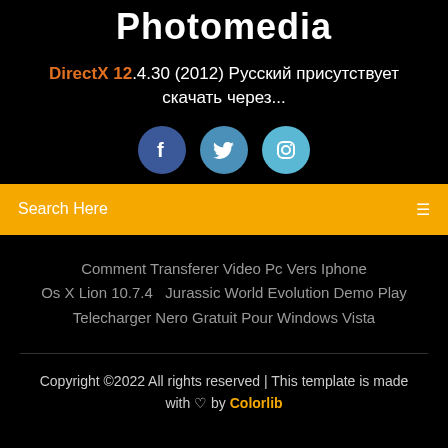Photomedia
DirectX 12.4.30 (2012) Русский присутствует скачать через...
[Figure (illustration): Three social media icon buttons: Facebook (dark blue), Twitter (medium blue), Instagram (light blue), each circular with white icons]
Search Here
Comment Transferer Video Pc Vers Iphone
Os X Lion 10.7.4   Jurassic World Evolution Demo Play
Telecharger Nero Gratuit Pour Windows Vista
Copyright ©2022 All rights reserved | This template is made with ♡ by Colorlib